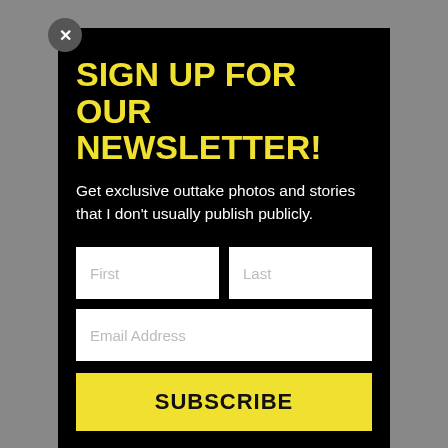SIGN UP FOR OUR NEWSLETTER!
Get exclusive outtake photos and stories that I don't usually publish publicly.
[Figure (screenshot): Newsletter signup form with First, Last, Email Address input fields and a yellow SUBSCRIBE button on a black background modal with a close (×) button]